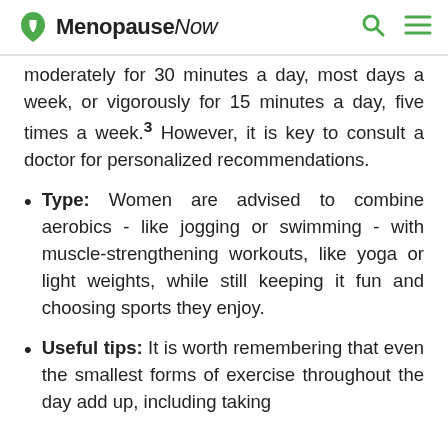MenopauseNow
moderately for 30 minutes a day, most days a week, or vigorously for 15 minutes a day, five times a week.³ However, it is key to consult a doctor for personalized recommendations.
Type: Women are advised to combine aerobics - like jogging or swimming - with muscle-strengthening workouts, like yoga or light weights, while still keeping it fun and choosing sports they enjoy.
Useful tips: It is worth remembering that even the smallest forms of exercise throughout the day add up, including taking